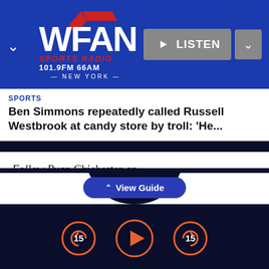[Figure (logo): WFAN Sports Radio 101.9FM 66AM New York logo with LISTEN button and navigation chevrons]
SPORTS
Ben Simmons repeatedly called Russell Westbrook at candy store by troll: 'He...
Follow Ryan Chichester on Twitter: @ryanchichester1
Follow WFAN on Social Media
Twitter | Facebook | Instagram
| YouTube | Twitch
^ View Guide